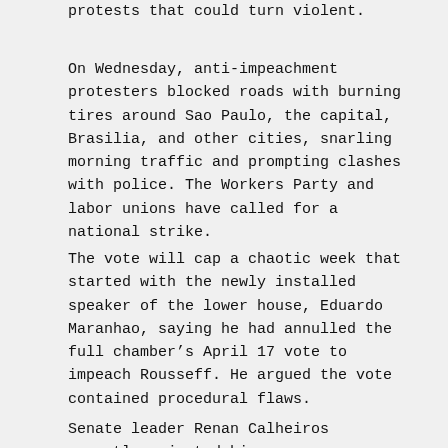protests that could turn violent.
On Wednesday, anti-impeachment protesters blocked roads with burning tires around Sao Paulo, the capital, Brasilia, and other cities, snarling morning traffic and prompting clashes with police. The Workers Party and labor unions have called for a national strike.
The vote will cap a chaotic week that started with the newly installed speaker of the lower house, Eduardo Maranhao, saying he had annulled the full chamber’s April 17 vote to impeach Rousseff. He argued the vote contained procedural flaws.
Senate leader Renan Calheiros promptly rejected his